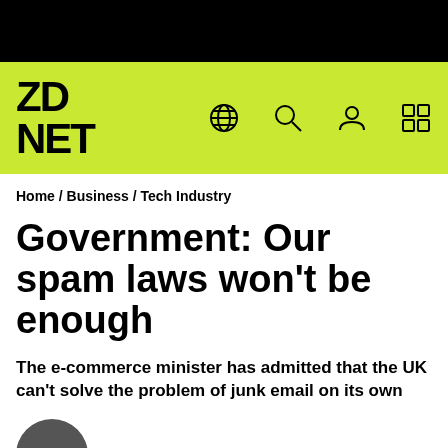[Figure (screenshot): ZDNET website header with black top bar and lime green navigation bar containing ZDNET logo and icons]
Home / Business / Tech Industry
Government: Our spam laws won't be enough
The e-commerce minister has admitted that the UK can't solve the problem of junk email on its own